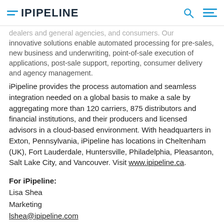iPipeline
dealers and general agencies, and consumers. Our innovative solutions enable automated processing for pre-sales, new business and underwriting, point-of-sale execution of applications, post-sale support, reporting, consumer delivery and agency management.
iPipeline provides the process automation and seamless integration needed on a global basis to make a sale by aggregating more than 120 carriers, 875 distributors and financial institutions, and their producers and licensed advisors in a cloud-based environment. With headquarters in Exton, Pennsylvania, iPipeline has locations in Cheltenham (UK), Fort Lauderdale, Huntersville, Philadelphia, Pleasanton, Salt Lake City, and Vancouver. Visit www.ipipeline.ca.
For iPipeline:
Lisa Shea
Marketing
lshea@ipipeline.com
484-870-6234